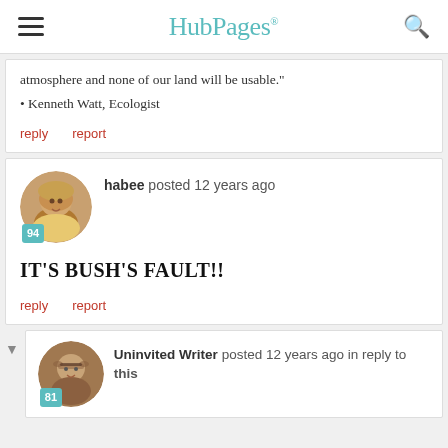HubPages
atmosphere and none of our land will be usable."
Kenneth Watt, Ecologist
reply   report
habee posted 12 years ago
IT'S BUSH'S FAULT!!
reply   report
Uninvited Writer posted 12 years ago in reply to this